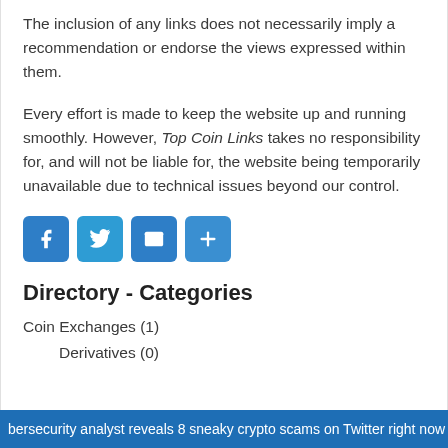The inclusion of any links does not necessarily imply a recommendation or endorse the views expressed within them.
Every effort is made to keep the website up and running smoothly. However, Top Coin Links takes no responsibility for, and will not be liable for, the website being temporarily unavailable due to technical issues beyond our control.
[Figure (infographic): Four social sharing buttons: Facebook (f), Twitter (bird), Email (envelope), Share (+), all in blue rounded square icons]
Directory - Categories
Coin Exchanges (1)
Derivatives (0)
bersecurity analyst reveals 8 sneaky crypto scams on Twitter right now